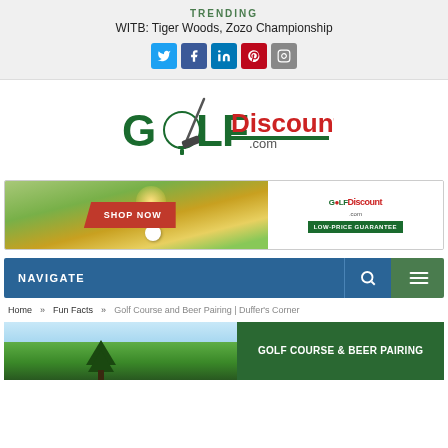TRENDING
WITB: Tiger Woods, Zozo Championship
[Figure (logo): Social media icon buttons: Twitter (blue), Facebook (dark blue), LinkedIn (blue), Pinterest (red), Instagram (gray)]
[Figure (logo): Golf Discount .com logo with golf club graphic]
[Figure (photo): Golf Discount advertisement banner with golf course photo, SHOP NOW button in red, GolfDiscount.com logo, LOW-PRICE GUARANTEE green badge]
NAVIGATE
Home >> Fun Facts >> Golf Course and Beer Pairing | Duffer's Corner
[Figure (photo): Article header image with golf course scene and green box reading GOLF COURSE & BEER PAIRING]